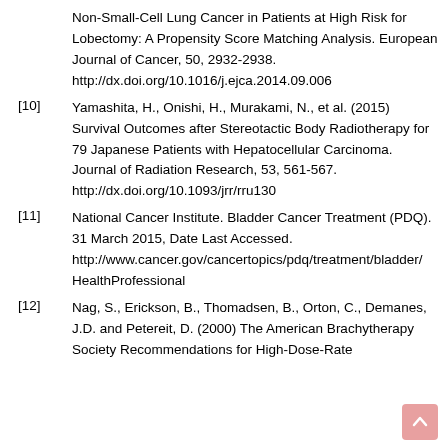Non-Small-Cell Lung Cancer in Patients at High Risk for Lobectomy: A Propensity Score Matching Analysis. European Journal of Cancer, 50, 2932-2938. http://dx.doi.org/10.1016/j.ejca.2014.09.006
[10] Yamashita, H., Onishi, H., Murakami, N., et al. (2015) Survival Outcomes after Stereotactic Body Radiotherapy for 79 Japanese Patients with Hepatocellular Carcinoma. Journal of Radiation Research, 53, 561-567. http://dx.doi.org/10.1093/jrr/rru130
[11] National Cancer Institute. Bladder Cancer Treatment (PDQ). 31 March 2015, Date Last Accessed. http://www.cancer.gov/cancertopics/pdq/treatment/bladder/HealthProfessional
[12] Nag, S., Erickson, B., Thomadsen, B., Orton, C., Demanes, J.D. and Petereit, D. (2000) The American Brachytherapy Society Recommendations for High-Dose-Rate